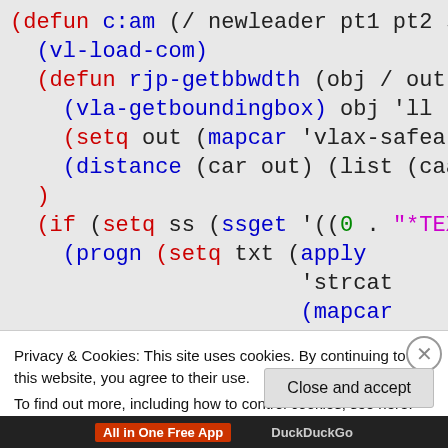(defun c:am (/ newleader pt1 pt2 ss txt x
  (vl-load-com)
  (defun rjp-getbbwdth (obj / out ll ur)
    (vla-getboundingbox obj 'll 'ur)
    (setq out (mapcar 'vlax-safearray->li
    (distance (car out) (list (caadr out)
  )
  (if (setq ss (ssget '((0 . "*TEXT"))))
    (progn (setq txt (apply
                      'strcat
                      (mapcar
Privacy & Cookies: This site uses cookies. By continuing to use this website, you agree to their use.
To find out more, including how to control cookies, see here: Cookie Policy
Close and accept